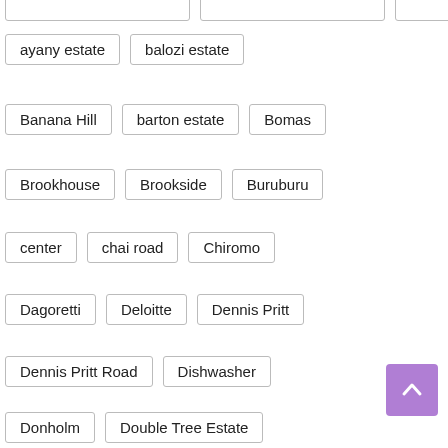ayany estate
balozi estate
Banana Hill
barton estate
Bomas
Brookhouse
Brookside
Buruburu
center
chai road
Chiromo
Dagoretti
Deloitte
Dennis Pritt
Dennis Pritt Road
Dishwasher
Donholm
Double Tree Estate
Eastleigh
eastleigh Nairobi
embakasi
embul bul
embulbul
equipment
estate
Fedha Estate